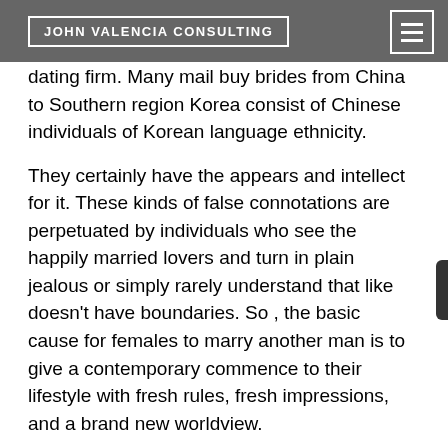JOHN VALENCIA CONSULTING
the decide dominated against the plaintiff, finding the law's constitutional involving a dating firm. Many mail buy brides from China to Southern region Korea consist of Chinese individuals of Korean language ethnicity.
They certainly have the appears and intellect for it. These kinds of false connotations are perpetuated by individuals who see the happily married lovers and turn in plain jealous or simply rarely understand that like doesn't have boundaries. So , the basic cause for females to marry another man is to give a contemporary commence to their lifestyle with fresh rules, fresh impressions, and a brand new worldview.
Mail Purchase Girlfriend and autism